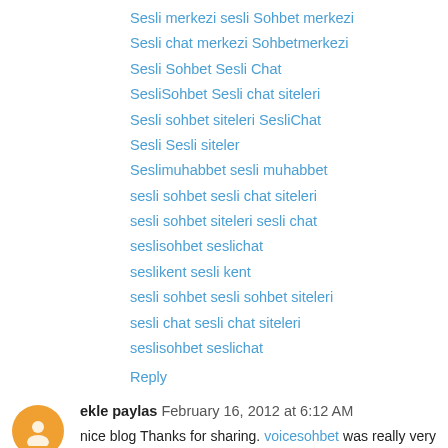Sesli merkezi sesli Sohbet merkezi
Sesli chat merkezi Sohbetmerkezi
Sesli Sohbet Sesli Chat
SesliSohbet Sesli chat siteleri
Sesli sohbet siteleri SesliChat
Sesli Sesli siteler
Seslimuhabbet sesli muhabbet
sesli sohbet sesli chat siteleri
sesli sohbet siteleri sesli chat
seslisohbet seslichat
seslikent sesli kent
sesli sohbet sesli sohbet siteleri
sesli chat sesli chat siteleri
seslisohbet seslichat
Reply
ekle paylas February 16, 2012 at 6:12 AM
nice blog Thanks for sharing. voicesohbet was really very nice.
sesli chat siteleri sesli sohbet